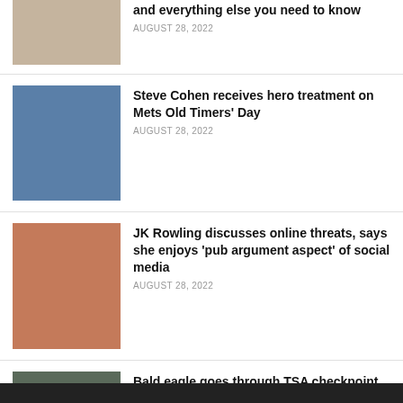[Figure (photo): Two people at an event, partially cropped at top]
and everything else you need to know
AUGUST 28, 2022
[Figure (photo): Man in blue baseball cap with glasses, baseball stadium background]
Steve Cohen receives hero treatment on Mets Old Timers' Day
AUGUST 28, 2022
[Figure (photo): Woman with red hair at HBO event background]
JK Rowling discusses online threats, says she enjoys 'pub argument aspect' of social media
AUGUST 28, 2022
[Figure (photo): Bald eagle at TSA checkpoint with handlers]
Bald eagle goes through TSA checkpoint at Charlotte airport
AUGUST 28, 2022